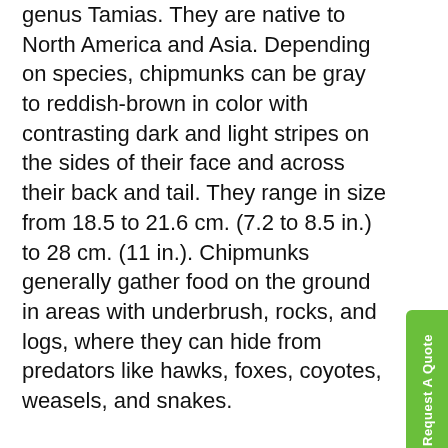genus Tamias. They are native to North America and Asia. Depending on species, chipmunks can be gray to reddish-brown in color with contrasting dark and light stripes on the sides of their face and across their back and tail. They range in size from 18.5 to 21.6 cm. (7.2 to 8.5 in.) to 28 cm. (11 in.). Chipmunks generally gather food on the ground in areas with underbrush, rocks, and logs, where they can hide from predators like hawks, foxes, coyotes, weasels, and snakes.

Chipmunks feed on insects, nuts, berries, seeds, fruit, and grain which they stuff into their generous cheek pouches and carry to their burrow or nest to store. Chipmunks hibernate, but instead of storing fat, they periodically dip into their cache of nuts and seeds throughout the winter. Ranging from Canada to Mexico, they are generally seen scampering